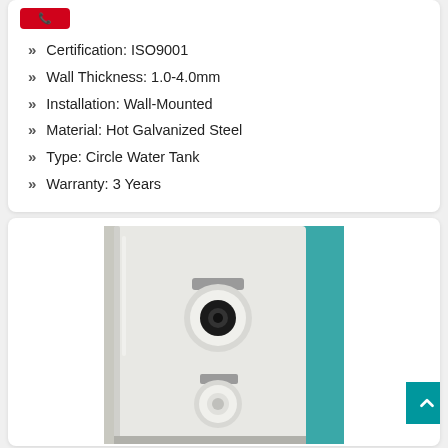Certification: ISO9001
Wall Thickness: 1.0-4.0mm
Installation: Wall-Mounted
Material: Hot Galvanized Steel
Type: Circle Water Tank
Warranty: 3 Years
[Figure (photo): Wall-mounted circle water tank (hot water heater) showing front panel with two circular connection ports, a label above each port, mounted on wall with teal/blue tile visible at right edge.]